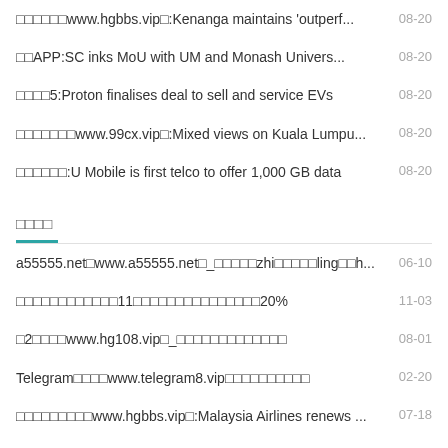□□□□□□www.hgbbs.vip□:Kenanga maintains 'outperf... 08-20
□□APP:SC inks MoU with UM and Monash Univers... 08-20
□□□□5:Proton finalises deal to sell and service EVs 08-20
□□□□□□□www.99cx.vip□:Mixed views on Kuala Lumpu... 08-20
□□□□□□:U Mobile is first telco to offer 1,000 GB data 08-20
□□□□
a55555.net□www.a55555.net□_□□□□□zhi□□□□□ling□□h... 06-10
□□□□□□□□□□□□11□□□□□□□□□□□□□□□20% 11-03
□2□□□□www.hg108.vip□_□□□□□□□□□□□□□ 08-01
Telegram□□□□www.telegram8.vip□□□□□□□□□□ 02-20
□□□□□□□□□www.hgbbs.vip□:Malaysia Airlines renews ... 07-18
usdt□□□□□□□www.6allbet.com□□□□□CBA□□□□□□ □□□□□□□□ 05-06
□2□□□guan□□□li□□www.22223388.com□_□□□□□□□□□□□□□... 05-31